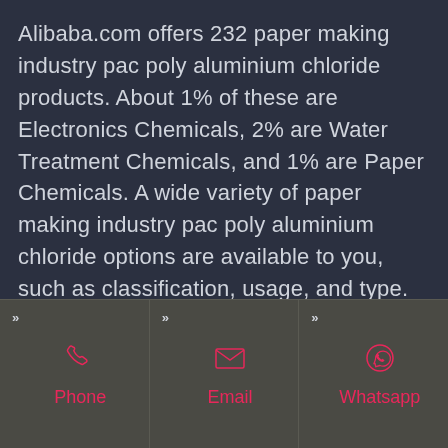Alibaba.com offers 232 paper making industry pac poly aluminium chloride products. About 1% of these are Electronics Chemicals, 2% are Water Treatment Chemicals, and 1% are Paper Chemicals. A wide variety of paper making industry pac poly aluminium chloride options are available to you, such as classification, usage, and type.
GET PRICE
[Figure (infographic): Three contact option panels: Phone (phone icon), Email (envelope icon), Whatsapp (whatsapp icon), each with a chevron >> marker in the top-left corner, displayed on a dark grey/brown background bar.]